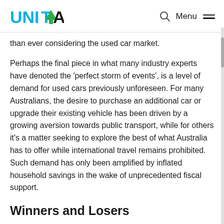UNITA | Q Menu
than ever considering the used car market.
Perhaps the final piece in what many industry experts have denoted the 'perfect storm of events', is a level of demand for used cars previously unforeseen. For many Australians, the desire to purchase an additional car or upgrade their existing vehicle has been driven by a growing aversion towards public transport, while for others it's a matter seeking to explore the best of what Australia has to offer while international travel remains prohibited. Such demand has only been amplified by inflated household savings in the wake of unprecedented fiscal support.
Winners and Losers